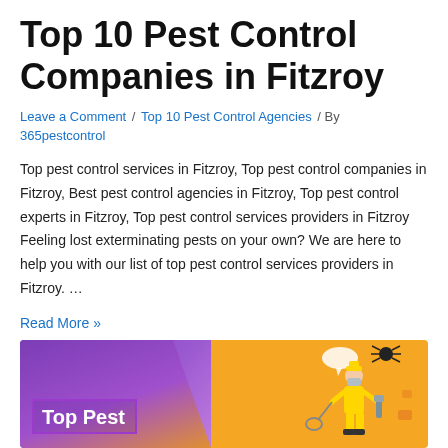Top 10 Pest Control Companies in Fitzroy
Leave a Comment / Top 10 Pest Control Agencies / By 365pestcontrol
Top pest control services in Fitzroy, Top pest control companies in Fitzroy, Best pest control agencies in Fitzroy, Top pest control experts in Fitzroy, Top pest control services providers in Fitzroy Feeling lost exterminating pests on your own? We are here to help you with our list of top pest control services providers in Fitzroy. …
Read More »
[Figure (illustration): Decorative banner image with purple gradient on left and orange/yellow on right, showing text 'Top Pest' in white bold font within a purple-bordered box, and a cartoon illustration of a pest control worker on the right side]